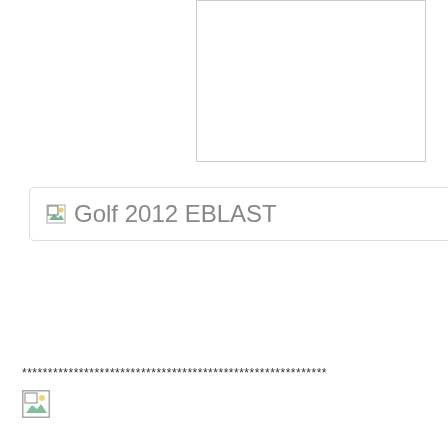[Figure (other): White rectangle with thin gray border — broken/placeholder image area at top of page]
[Figure (other): Rounded rectangle box with broken image icon and text 'Golf 2012 EBLAST']
***********************************************************
[Figure (other): Broken image / checkbox placeholder icon]
100PercentBronx at 4:19 PM   No comments:
Share
What You Should Know
By Sen. Rev. Rubén Díaz